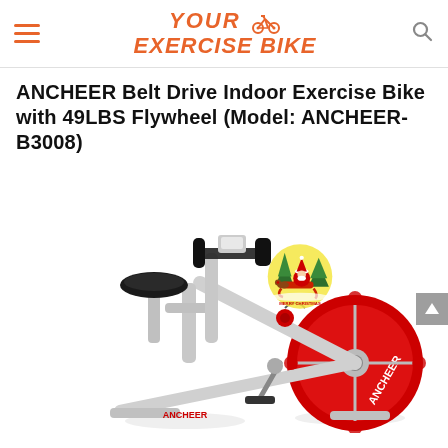YOUR EXERCISE BIKE
ANCHEER Belt Drive Indoor Exercise Bike with 49LBS Flywheel (Model: ANCHEER-B3008)
[Figure (photo): Photo of an ANCHEER indoor exercise bike (model ANCHEER-B3008) in white and red, with black seat and handlebars, large red flywheel with ANCHEER branding, pedals, and a Merry Christmas Santa Claus sticker on the frame. The bike is shown on a white background.]